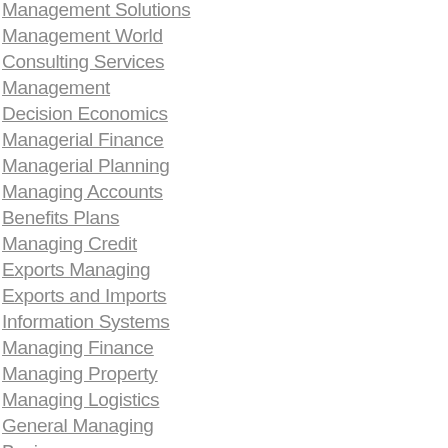Management Solutions
Management World
Consulting Services
Management
Decision Economics
Managerial Finance
Managerial Planning
Managing Accounts
Benefits Plans
Managing Credit
Exports Managing
Exports and Imports
Information Systems
Managing Finance
Managing Property
Managing Logistics
General Managing
Business
Manufactured